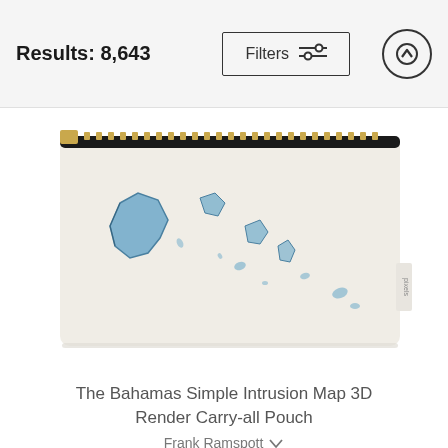Results: 8,643
[Figure (screenshot): Filters button with sliders icon and scroll-up arrow button in top bar]
[Figure (photo): A carry-all pouch product showing a 3D render map of The Bahamas on a cream/off-white background, with a gold zipper at the top and a small brand tag on the right side.]
The Bahamas Simple Intrusion Map 3D Render Carry-all Pouch
Frank Ramspott
$24